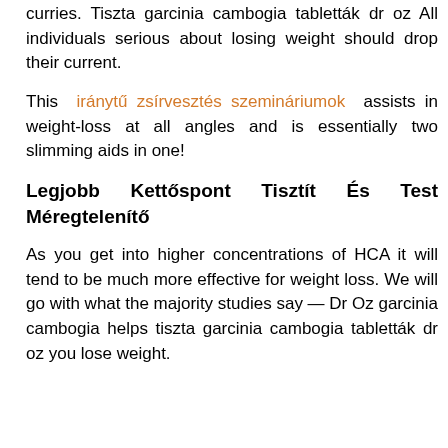curries. Tiszta garcinia cambogia tabletták dr oz All individuals serious about losing weight should drop their current.
This iránytű zsírvesztés szemináriumok assists in weight-loss at all angles and is essentially two slimming aids in one!
Legjobb Kettőspont Tisztít És Test Méregtelenítő
As you get into higher concentrations of HCA it will tend to be much more effective for weight loss. We will go with what the majority studies say — Dr Oz garcinia cambogia helps tiszta garcinia cambogia tabletták dr oz you lose weight.